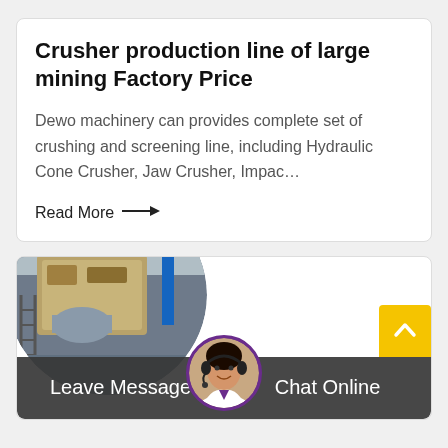Crusher production line of large mining Factory Price
Dewo machinery can provides complete set of crushing and screening line, including Hydraulic Cone Crusher, Jaw Crusher, Impac…
Read More →
[Figure (photo): Circular cropped photo of industrial crushing machinery inside a large factory/warehouse building]
[Figure (photo): Circular photo of a female customer service agent wearing a headset, smiling]
Leave Message
Chat Online